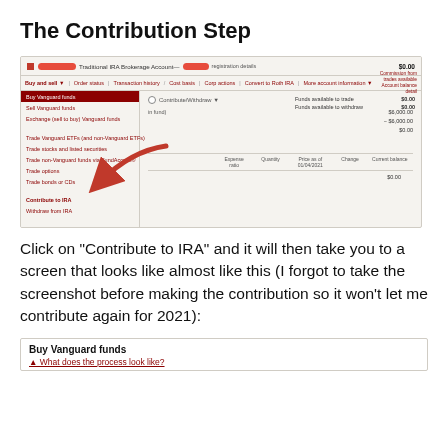The Contribution Step
[Figure (screenshot): Screenshot of Vanguard Traditional IRA Brokerage Account interface showing the dropdown menu with 'Buy Vanguard funds' highlighted in red, and 'Contribute to IRA' option pointed to by a red arrow. The account balance shows $0.00 and funds available to trade and withdraw are both $0.00.]
Click on “Contribute to IRA” and it will then take you to a screen that looks like almost like this (I forgot to take the screenshot before making the contribution so it won’t let me contribute again for 2021):
Buy Vanguard funds